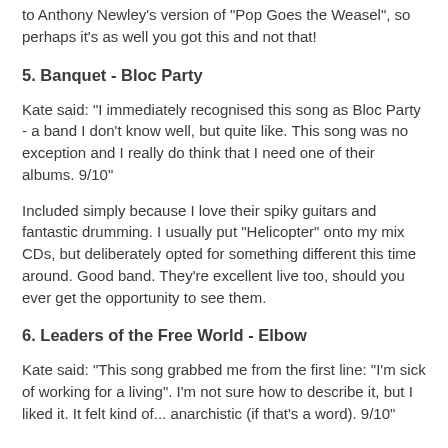to Anthony Newley's version of "Pop Goes the Weasel", so perhaps it's as well you got this and not that!
5. Banquet - Bloc Party
Kate said: "I immediately recognised this song as Bloc Party - a band I don't know well, but quite like. This song was no exception and I really do think that I need one of their albums. 9/10"
Included simply because I love their spiky guitars and fantastic drumming. I usually put "Helicopter" onto my mix CDs, but deliberately opted for something different this time around. Good band. They're excellent live too, should you ever get the opportunity to see them.
6. Leaders of the Free World - Elbow
Kate said: "This song grabbed me from the first line: "I'm sick of working for a living". I'm not sure how to describe it, but I liked it. It felt kind of... anarchistic (if that's a word). 9/10"